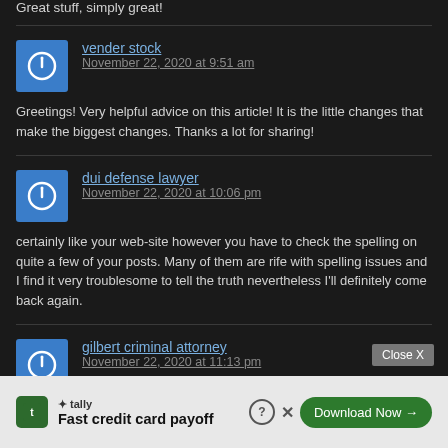Great stuff, simply great!
vender stock
November 22, 2020 at 9:51 am
Greetings! Very helpful advice on this article! It is the little changes that make the biggest changes. Thanks a lot for sharing!
dui defense lawyer
November 22, 2020 at 10:06 pm
certainly like your web-site however you have to check the spelling on quite a few of your posts. Many of them are rife with spelling issues and I find it very troublesome to tell the truth nevertheless I'll definitely come back again.
gilbert criminal attorney
November 22, 2020 at 11:13 pm
Its fantastic as your other content : D, thankyou for posting. A great name follows a little sp...
[Figure (screenshot): Tally advertisement banner: Fast credit card payoff, with Download Now button, help icon, and close X button. Also shows Close X overlay button above.]